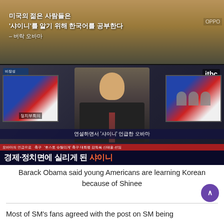[Figure (screenshot): Two-panel composite image. Top panel shows a man (Barack Obama) speaking at a podium with Korean text overlay: '미국의 젊은 사람들은 샤이니를 알기 위해 한국어를 공부한다 – 버락 오바마' (Young Americans study Korean to know Shinee – Barack Obama). Bottom panel shows a JTBC Korean news broadcast with an anchor reading the news. On-screen text reads '연설하면서 샤이니 언급한 오바마' (Obama who mentioned Shinee in his speech) and bottom headline '경제·정치면에 실리게 된 샤이니' (Shinee featured on economy and politics pages), with 샤이니 in orange.]
Barack Obama said young Americans are learning Korean because of Shinee
Most of SM's fans agreed with the post on SM being